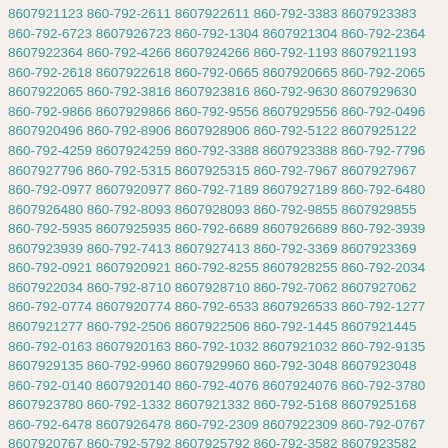8607921123 860-792-2611 8607922611 860-792-3383 8607923383 860-792-6723 8607926723 860-792-1304 8607921304 860-792-2364 8607922364 860-792-4266 8607924266 860-792-1193 8607921193 860-792-2618 8607922618 860-792-0665 8607920665 860-792-2065 8607922065 860-792-3816 8607923816 860-792-9630 8607929630 860-792-9866 8607929866 860-792-9556 8607929556 860-792-0496 8607920496 860-792-8906 8607928906 860-792-5122 8607925122 860-792-4259 8607924259 860-792-3388 8607923388 860-792-7796 8607927796 860-792-5315 8607925315 860-792-7967 8607927967 860-792-0977 8607920977 860-792-7189 8607927189 860-792-6480 8607926480 860-792-8093 8607928093 860-792-9855 8607929855 860-792-5935 8607925935 860-792-6689 8607926689 860-792-3939 8607923939 860-792-7413 8607927413 860-792-3369 8607923369 860-792-0921 8607920921 860-792-8255 8607928255 860-792-2034 8607922034 860-792-8710 8607928710 860-792-7062 8607927062 860-792-0774 8607920774 860-792-6533 8607926533 860-792-1277 8607921277 860-792-2506 8607922506 860-792-1445 8607921445 860-792-0163 8607920163 860-792-1032 8607921032 860-792-9135 8607929135 860-792-9960 8607929960 860-792-3048 8607923048 860-792-0140 8607920140 860-792-4076 8607924076 860-792-3780 8607923780 860-792-1332 8607921332 860-792-5168 8607925168 860-792-6478 8607926478 860-792-2309 8607922309 860-792-0767 8607920767 860-792-5792 8607925792 860-792-3582 8607923582 860-792-2687 8607922687 860-792-0567 8607920567 860-792-9386 8607929386 860-792-0098 8607920098 860-792-9342 8607929342 860-792-8407 8607928407 860-792-4786 8607924786 860-792-5073 8607925073 860-792-6311 8607926311 860-792-7251 8607927251 860-